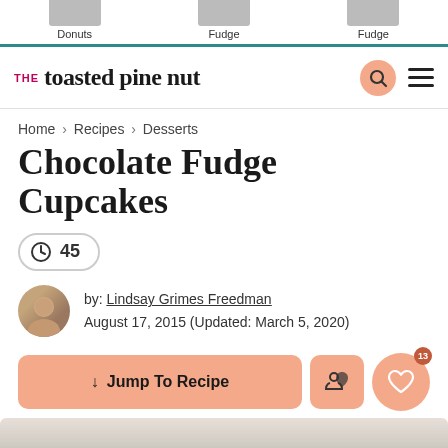Donuts | Fudge | Fudge
THE toasted pine nut
Home > Recipes > Desserts
Chocolate Fudge Cupcakes
45
by: Lindsay Grimes Freedman
August 17, 2015 (Updated: March 5, 2020)
↓ Jump To Recipe
This Post May Contain Affiliate Links. Please Read Our Disclosure Policy.